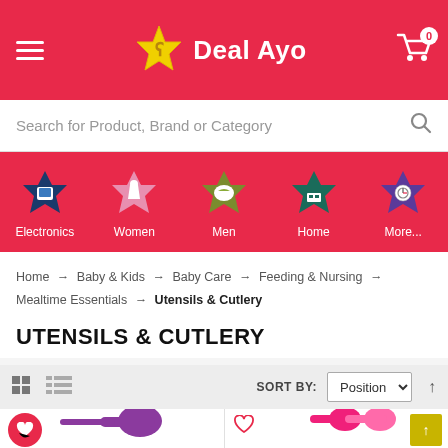[Figure (screenshot): Deal Ayo e-commerce website header with logo, hamburger menu, and cart icon on red background]
Search for Product, Brand or Category
[Figure (infographic): Category navigation icons: Electronics (dark blue flower), Women (pink flower), Men (olive green flower), Home (teal flower), More... (purple flower)]
Home → Baby & Kids → Baby Care → Feeding & Nursing → Mealtime Essentials → Utensils & Cutlery
UTENSILS & CUTLERY
SORT BY: Position
[Figure (photo): Two product images: left shows a purple baby spoon, right shows two pink baby spoons]